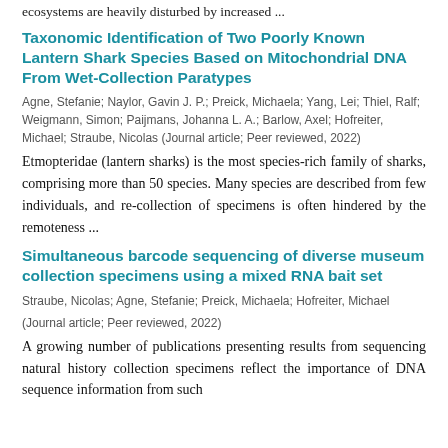ecosystems are heavily disturbed by increased ...
Taxonomic Identification of Two Poorly Known Lantern Shark Species Based on Mitochondrial DNA From Wet-Collection Paratypes
Agne, Stefanie; Naylor, Gavin J. P.; Preick, Michaela; Yang, Lei; Thiel, Ralf; Weigmann, Simon; Paijmans, Johanna L. A.; Barlow, Axel; Hofreiter, Michael; Straube, Nicolas (Journal article; Peer reviewed, 2022)
Etmopteridae (lantern sharks) is the most species-rich family of sharks, comprising more than 50 species. Many species are described from few individuals, and re-collection of specimens is often hindered by the remoteness ...
Simultaneous barcode sequencing of diverse museum collection specimens using a mixed RNA bait set
Straube, Nicolas; Agne, Stefanie; Preick, Michaela; Hofreiter, Michael
(Journal article; Peer reviewed, 2022)
A growing number of publications presenting results from sequencing natural history collection specimens reflect the importance of DNA sequence information from such